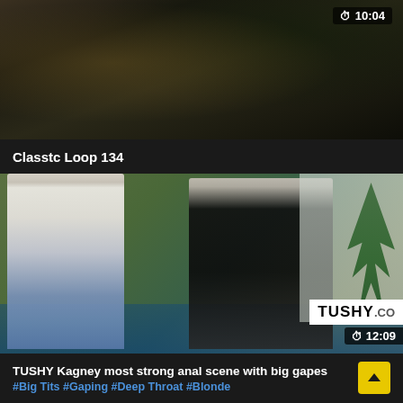[Figure (screenshot): Video thumbnail showing two people in dark floral/patterned clothing, top portion of a video player]
10:04
Classtc Loop 134
[Figure (screenshot): Video thumbnail showing a man in white t-shirt and jeans facing a woman in a black swimsuit standing by a pool, with TUSHY.COM watermark and 12:09 duration]
TUSHY Kagney most strong anal scene with big gapes
#Big Tits #Gaping #Deep Throat #Blonde